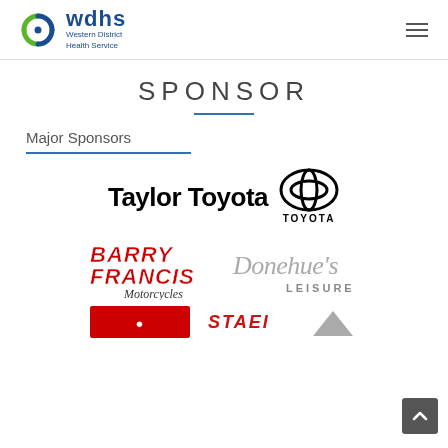wdhs Western District Health Service
SPONSOR
Major Sponsors
[Figure (logo): Taylor Toyota logo with Toyota emblem]
[Figure (logo): Barry Francis Motorcycles logo (red bold text)]
[Figure (logo): Donehue's Leisure logo (silver script text)]
[Figure (logo): Partial sponsor logos at bottom]